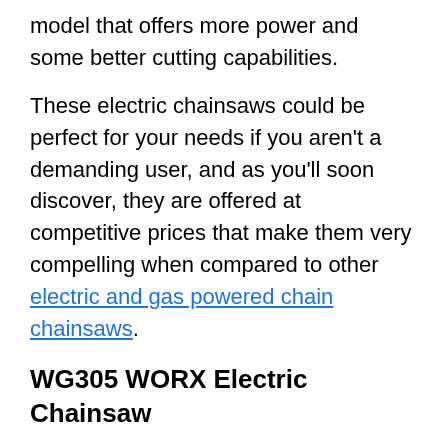model that offers more power and some better cutting capabilities.
These electric chainsaws could be perfect for your needs if you aren't a demanding user, and as you'll soon discover, they are offered at competitive prices that make them very compelling when compared to other electric and gas powered chain chainsaws.
WG305 WORX Electric Chainsaw
The WORX model number system can be slightly confusing at times, and although you might think the 305 is a large model chainsaw, it's actually the smallest that WORX produces.